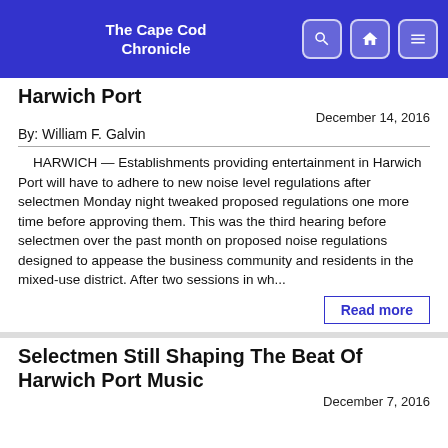The Cape Cod Chronicle
Harwich Port
December 14, 2016
By: William F. Galvin
HARWICH — Establishments providing entertainment in Harwich Port will have to adhere to new noise level regulations after selectmen Monday night tweaked proposed regulations one more time before approving them. This was the third hearing before selectmen over the past month on proposed noise regulations designed to appease the business community and residents in the mixed-use district. After two sessions in wh...
Read more
Selectmen Still Shaping The Beat Of Harwich Port Music
December 7, 2016